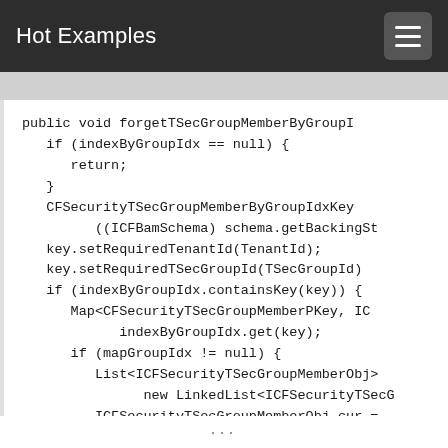Hot Examples
public void forgetTSecGroupMemberByGroupI
   if (indexByGroupIdx == null) {
      return;
   }
   CFSecurityTSecGroupMemberByGroupIdxKey
         ((ICFBamSchema) schema.getBackingSt
   key.setRequiredTenantId(TenantId);
   key.setRequiredTSecGroupId(TSecGroupId)
   if (indexByGroupIdx.containsKey(key)) {
      Map<CFSecurityTSecGroupMemberPKey, IC
            indexByGroupIdx.get(key);
      if (mapGroupIdx != null) {
         List<ICFSecurityTSecGroupMemberObj>
               new LinkedList<ICFSecurityTSecG
         ICFSecurityTSecGroupMemberObj cur =